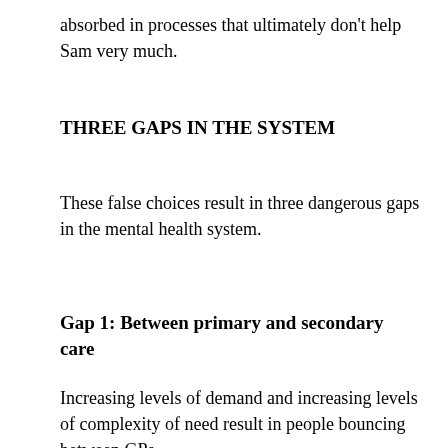absorbed in processes that ultimately don't help Sam very much.
THREE GAPS IN THE SYSTEM
These false choices result in three dangerous gaps in the mental health system.
Gap 1: Between primary and secondary care
Increasing levels of demand and increasing levels of complexity of need result in people bouncing between GPs,